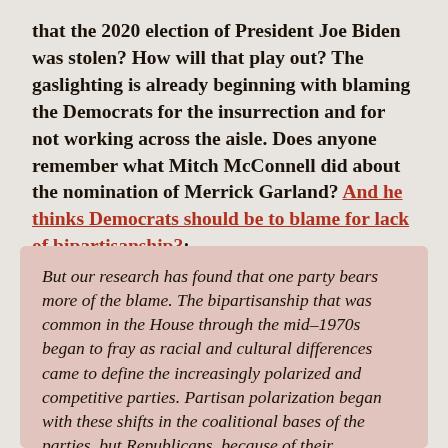that the 2020 election of President Joe Biden was stolen? How will that play out? The gaslighting is already beginning with blaming the Democrats for the insurrection and for not working across the aisle. Does anyone remember what Mitch McConnell did about the nomination of Merrick Garland? And he thinks Democrats should be to blame for lack of bipartisanship?:
But our research has found that one party bears more of the blame. The bipartisanship that was common in the House through the mid-1970s began to fray as racial and cultural differences came to define the increasingly polarized and competitive parties. Partisan polarization began with these shifts in the coalitional bases of the parties, but Republicans, because of their increasingly homogeneous positions on race, religious traditionalism and other cultural issues, had more incentive to move right than Democrats had to move left. In the 1990s, Newt Gingrich and his allies fomented tribalism, using the House ethics process as a political